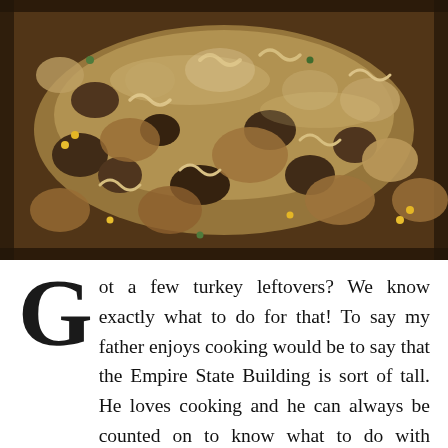[Figure (photo): Close-up photo of a hearty turkey leftover stew or casserole dish with mushrooms, macaroni pasta, corn, vegetables, and chunks of turkey or meat in a creamy golden-brown sauce, photographed from above in a dark skillet or pan.]
Got a few turkey leftovers? We know exactly what to do for that! To say my father enjoys cooking would be to say that the Empire State Building is sort of tall. He loves cooking and he can always be counted on to know what to do with leftovers. Zero-waste is the aim so let's make some